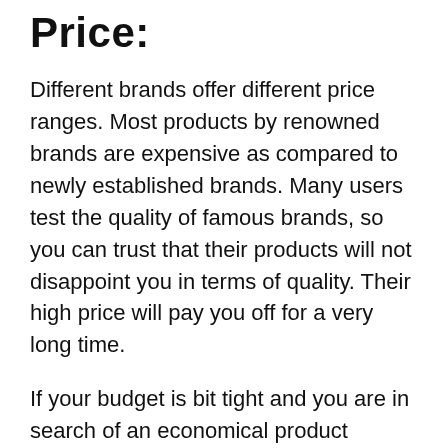Price:
Different brands offer different price ranges. Most products by renowned brands are expensive as compared to newly established brands. Many users test the quality of famous brands, so you can trust that their products will not disappoint you in terms of quality. Their high price will pay you off for a very long time.
If your budget is bit tight and you are in search of an economical product encompassing great features, you can opt for new brands as their prices are comparatively low. But before making a final choice, it is suggested to do comprehensive research on the new brand; you are thinking